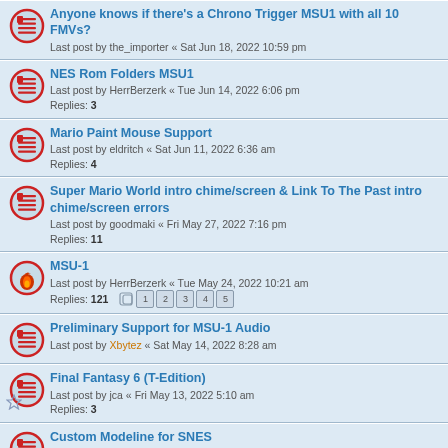Anyone knows if there's a Chrono Trigger MSU1 with all 10 FMVs?
Last post by the_importer « Sat Jun 18, 2022 10:59 pm
NES Rom Folders MSU1
Last post by HerrBerzerk « Tue Jun 14, 2022 6:06 pm
Replies: 3
Mario Paint Mouse Support
Last post by eldritch « Sat Jun 11, 2022 6:36 am
Replies: 4
Super Mario World intro chime/screen & Link To The Past intro chime/screen errors
Last post by goodmaki « Fri May 27, 2022 7:16 pm
Replies: 11
MSU-1
Last post by HerrBerzerk « Tue May 24, 2022 10:21 am
Replies: 121
Preliminary Support for MSU-1 Audio
Last post by Xbytez « Sat May 14, 2022 8:28 am
Final Fantasy 6 (T-Edition)
Last post by jca « Fri May 13, 2022 5:10 am
Replies: 3
Custom Modeline for SNES
Last post by jlancaster86 « Thu May 12, 2022 9:56 am
Replies: 1
Super Mario World, Flickering in Caves
Last post by Karmeck « Sat Apr 30, 2022 7:14 pm